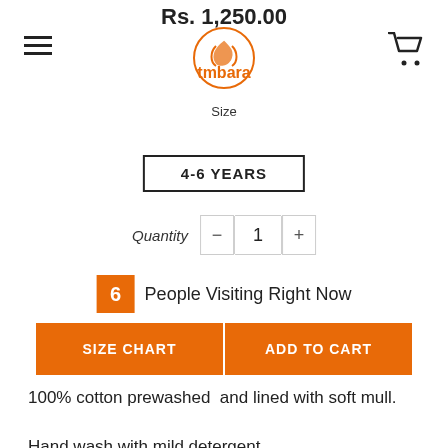Rs. 1,250.00
[Figure (logo): Tmbara brand logo with circular abstract icon in orange and text 'tmbara' in orange]
Size
4-6 YEARS
Quantity  -  1  +
6  People Visiting Right Now
SIZE CHART
ADD TO CART
100% cotton prewashed  and lined with soft mull.
Hand wash with mild detergent